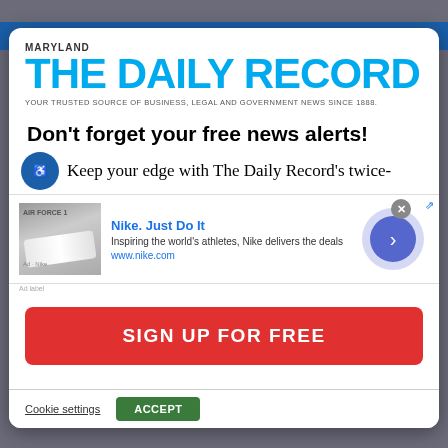[Figure (logo): Maryland The Daily Record newspaper logo with tagline: YOUR TRUSTED SOURCE OF BUSINESS, LEGAL AND GOVERNMENT NEWS SINCE 1888.]
Don't forget your free news alerts!
Keep your edge with The Daily Record's twice-
[Figure (infographic): Nike advertisement banner with shoe image, text: Nike. Just Do It. Inspiring the world's athletes, Nike delivers the deals. www.nike.com. Arrow navigation button on the right.]
SIGN UP FOR FREE
Cookie settings   ACCEPT